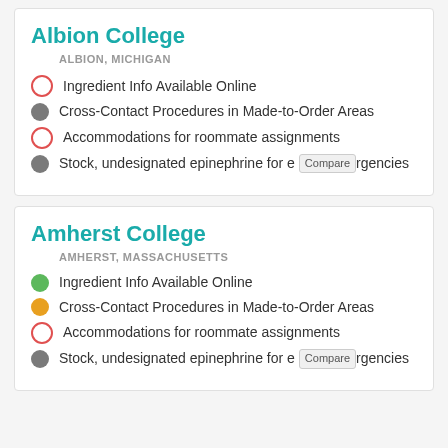Albion College
ALBION, MICHIGAN
Ingredient Info Available Online
Cross-Contact Procedures in Made-to-Order Areas
Accommodations for roommate assignments
Stock, undesignated epinephrine for emergencies Compare
Amherst College
AMHERST, MASSACHUSETTS
Ingredient Info Available Online
Cross-Contact Procedures in Made-to-Order Areas
Accommodations for roommate assignments
Stock, undesignated epinephrine for emergencies Compare